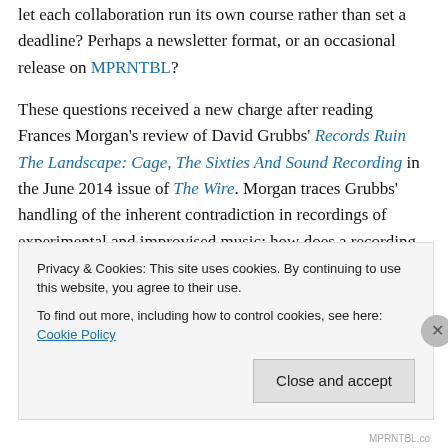let each collaboration run its own course rather than set a deadline? Perhaps a newsletter format, or an occasional release on MPRNTBL?
These questions received a new charge after reading Frances Morgan's review of David Grubbs' Records Ruin The Landscape: Cage, The Sixties And Sound Recording in the June 2014 issue of The Wire. Morgan traces Grubbs' handling of the inherent contradiction in recordings of experimental and improvised music: how does a recording of an experimental composition or an
Privacy & Cookies: This site uses cookies. By continuing to use this website, you agree to their use.
To find out more, including how to control cookies, see here: Cookie Policy
Close and accept